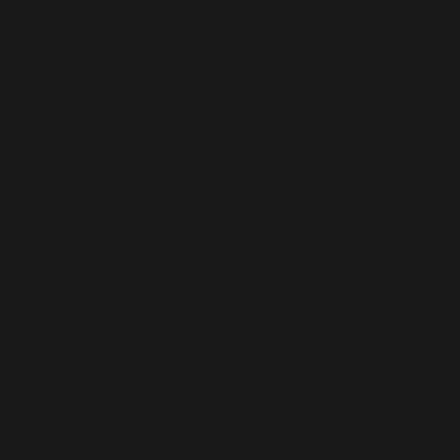[Figure (other): Blank black/near-black page with no visible text or content.]